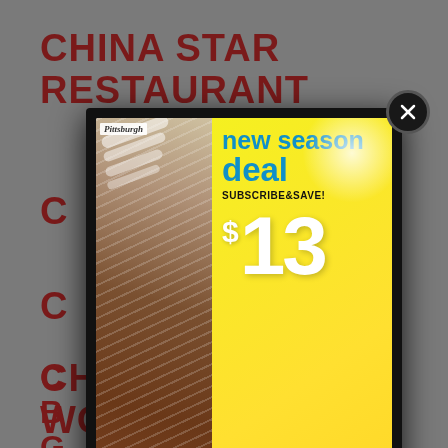CHINA STAR RESTAURANT
[Figure (screenshot): Magazine subscription advertisement popup for Pittsburgh magazine showing a football close-up image on the left and yellow background on right with text: 'new season deal SUBSCRIBE&SAVE! $13 ONE-YEAR SUBSCRIPTION CLICK for discount code' with a sun graphic and close (X) button]
CHURCH BREW WORKS